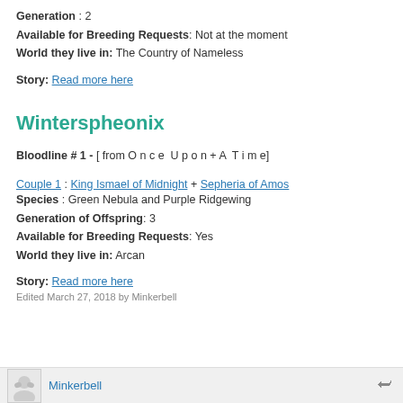Generation : 2
Available for Breeding Requests: Not at the moment
World they live in: The Country of Nameless
Story: Read more here
Winterspheonix
Bloodline # 1 - [ from O n c e  U p o n + A  T i m e]
Couple 1 : King Ismael of Midnight + Sepheria of Amos
Species : Green Nebula and Purple Ridgewing
Generation of Offspring: 3
Available for Breeding Requests: Yes
World they live in: Arcan
Story: Read more here
Edited March 27, 2018 by Minkerbell
Minkerbell